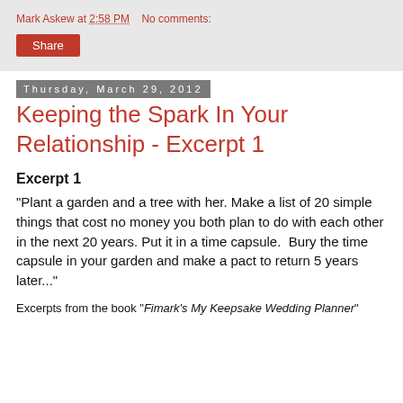Mark Askew at 2:58 PM    No comments:
Share
Thursday, March 29, 2012
Keeping the Spark In Your Relationship - Excerpt 1
Excerpt 1
"Plant a garden and a tree with her. Make a list of 20 simple things that cost no money you both plan to do with each other in the next 20 years. Put it in a time capsule.  Bury the time capsule in your garden and make a pact to return 5 years later..."
Excerpts from the book "Fimark's My Keepsake Wedding Planner"